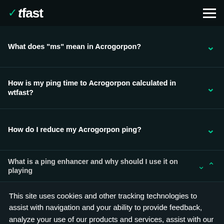WTFast
What does "ms" mean in Acrogorpon?
How is my ping time to Acrogorpon calculated in wtfast?
How do I reduce my Acrogorpon ping?
What is a ping enhancer and why should I use it on playing
This site uses cookies and other tracking technologies to assist with navigation and your ability to provide feedback, analyze your use of our products and services, assist with our promotional and marketing efforts, and provide content from third parties.
Click here to review our Cookie Policy
ACCEPT ALL
Accept mandatory and performance